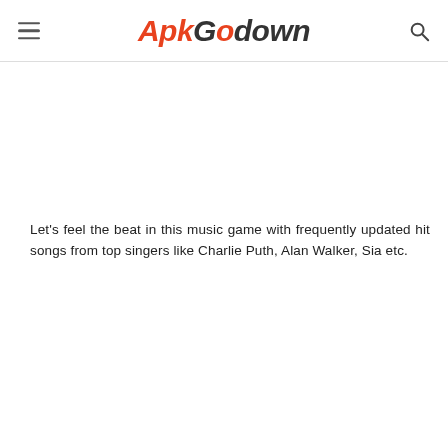ApkGodown
Let's feel the beat in this music game with frequently updated hit songs from top singers like Charlie Puth, Alan Walker, Sia etc.